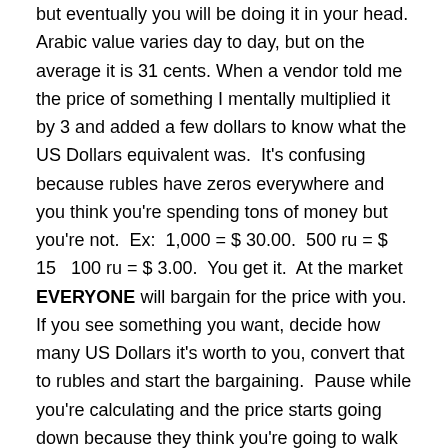but eventually you will be doing it in your head. Arabic value varies day to day, but on the average it is 31 cents. When a vendor told me the price of something I mentally multiplied it by 3 and added a few dollars to know what the US Dollars equivalent was. It's confusing because rubles have zeros everywhere and you think you're spending tons of money but you're not. Ex: 1,000 = $ 30.00. 500 ru = $ 15  100 ru = $ 3.00. You get it. At the market EVERYONE will bargain for the price with you. If you see something you want, decide how many US Dollars it's worth to you, convert that to rubles and start the bargaining. Pause while you're calculating and the price starts going down because they think you're going to walk away. I got very good at it – you will too.
Atm Machine / Bank Fees:
There are ATM machines in the lobby of the hotel. Only